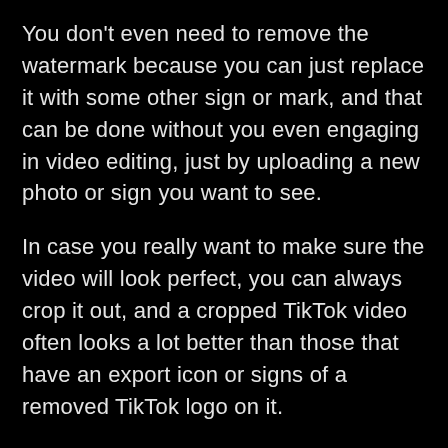You don't even need to remove the watermark because you can just replace it with some other sign or mark, and that can be done without you even engaging in video editing, just by uploading a new photo or sign you want to see.
In case you really want to make sure the video will look perfect, you can always crop it out, and a cropped TikTok video often looks a lot better than those that have an export icon or signs of a removed TikTok logo on it.
You can also choose to blur it, but I believe the cropping tool will work the best, especially if you are using it as an Android app.